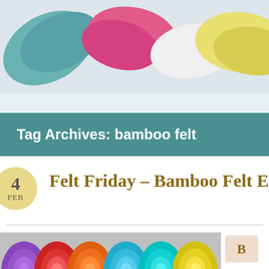[Figure (photo): Colorful felt shapes (teal, pink, white, yellow) on light background — header banner image]
Tag Archives: bamboo felt
[Figure (other): Date badge circle showing '4 FEB']
Felt Friday – Bamboo Felt E
[Figure (photo): Rolled colorful felt pieces in purple, orange, red, teal, yellow — product photo. Partial sidebar text: 'Bam... felt a...']